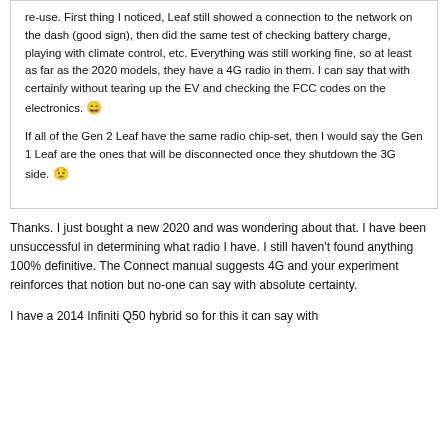re-use. First thing I noticed, Leaf still showed a connection to the network on the dash (good sign), then did the same test of checking battery charge, playing with climate control, etc. Everything was still working fine, so at least as far as the 2020 models, they have a 4G radio in them. I can say that with certainly without tearing up the EV and checking the FCC codes on the electronics. 😄

If all of the Gen 2 Leaf have the same radio chip-set, then I would say the Gen 1 Leaf are the ones that will be disconnected once they shutdown the 3G side. 😟
Thanks. I just bought a new 2020 and was wondering about that. I have been unsuccessful in determining what radio I have. I still haven't found anything 100% definitive. The Connect manual suggests 4G and your experiment reinforces that notion but no-one can say with absolute certainty.
I have a 2014 Infiniti Q50 hybrid so for this it can say with